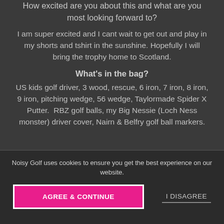How excited are you about this and what are you most looking forward to?
I am super excited and I cant wait to get out and play in my shorts and tshirt in the sunshine. Hopefully I will bring the trophy home to Scotland.
What’s in the bag?
US kids golf driver, 3 wood, rescue, 6 iron, 7 iron, 8 iron, 9 iron, pitching wedge, 56 wedge, Taylormade Spider X Putter.  RBZ golf balls, my Big Nessie (Loch Ness monster) driver cover, Nairn & Belfry golf ball markers.
Noisy Golf uses cookies to ensure you get the best experience on our website.
AGREE & CONTINUE
I DISAGREE